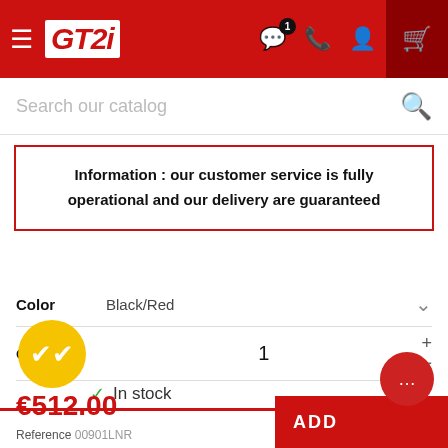GT2i — navigation header with hamburger menu, logo, chat icon with badge 1, phone icon, account icon, cart icon
Search our catalog
Information : our customer service is fully operational and our delivery are guaranteed
Color  Black/Red
Quantity  1
In stock
€512.00
Reference 00901LNR
ADD